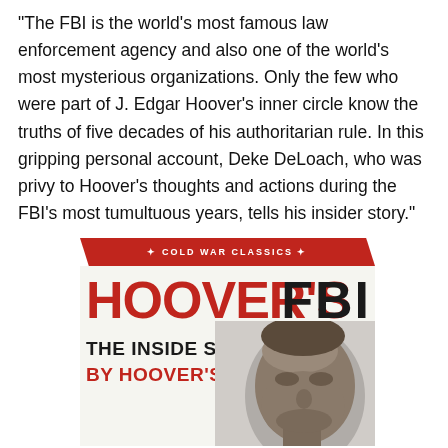“The FBI is the world’s most famous law enforcement agency and also one of the world’s most mysterious organizations. Only the few who were part of J. Edgar Hoover’s inner circle know the truths of five decades of his authoritarian rule. In this gripping personal account, Deke DeLoach, who was privy to Hoover’s thoughts and actions during the FBI’s most tumultuous years, tells his insider story.”
[Figure (illustration): Book cover for 'Hoover's FBI: The Inside Story by Hoover's' — Cold War Classics series. Red banner at top with 'COLD WAR CLASSICS' text. Large red text 'HOOVER'S' and black text 'FBI' as title. Subtitle 'THE INSIDE STORY' in black and 'BY HOOVER'S' in red. Black and white photo of a man's face (upper portion) in lower right.]